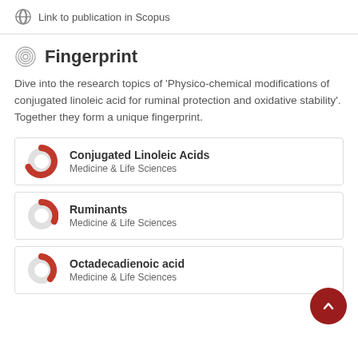Link to publication in Scopus
Fingerprint
Dive into the research topics of 'Physico-chemical modifications of conjugated linoleic acid for ruminal protection and oxidative stability'. Together they form a unique fingerprint.
Conjugated Linoleic Acids
Medicine & Life Sciences
Ruminants
Medicine & Life Sciences
Octadecadienoic acid
Medicine & Life Sciences